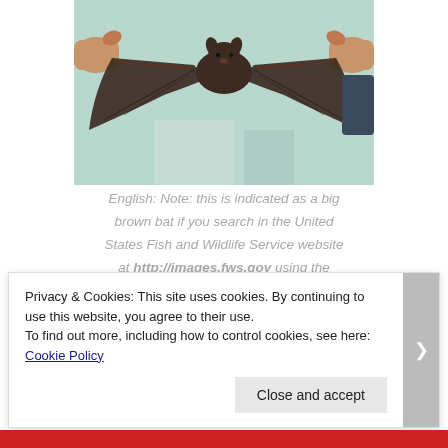[Figure (photo): A person holding a bat with wings spread open, photographed from below against a light background.]
English: Note: this is indicated as a big brown bat if you search in the United States Fish and Wildlife Service website at http://images.fws.gov using the
Privacy & Cookies: This site uses cookies. By continuing to use this website, you agree to their use.
To find out more, including how to control cookies, see here: Cookie Policy